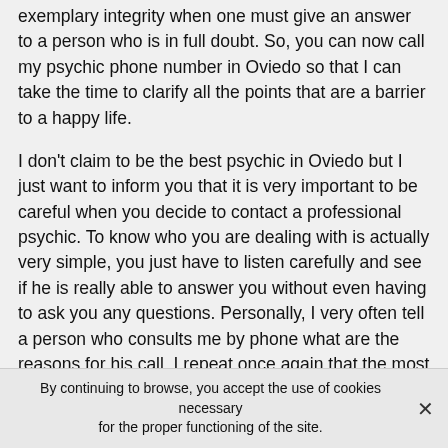exemplary integrity when one must give an answer to a person who is in full doubt. So, you can now call my psychic phone number in Oviedo so that I can take the time to clarify all the points that are a barrier to a happy life.
I don't claim to be the best psychic in Oviedo but I just want to inform you that it is very important to be careful when you decide to contact a professional psychic. To know who you are dealing with is actually very simple, you just have to listen carefully and see if he is really able to answer you without even having to ask you any questions. Personally, I very often tell a person who consults me by phone what are the reasons for his call. I repeat once again that the most important thing for an individual who consults in a psychic office is to be able to trust and not to doubt the answers given during a telephone conversation.
By continuing to browse, you accept the use of cookies necessary for the proper functioning of the site.